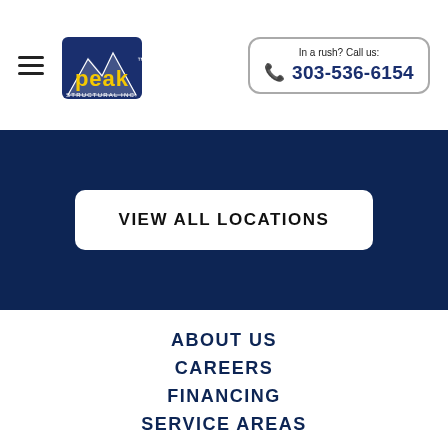In a rush? Call us: 303-536-6154
[Figure (logo): Peak Structural Inc. logo — mountain graphic with yellow 'peak' text on blue background]
VIEW ALL LOCATIONS
ABOUT US
CAREERS
FINANCING
SERVICE AREAS